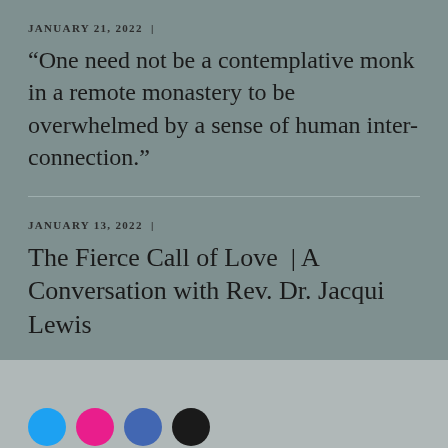JANUARY 21, 2022 |
“One need not be a contemplative monk in a remote monastery to be overwhelmed by a sense of human inter-connection.”
JANUARY 13, 2022 |
The Fierce Call of Love | A Conversation with Rev. Dr. Jacqui Lewis
MORE POSTS →
[Figure (other): Social media sharing icons: Twitter (blue circle), Pinterest/Instagram (pink circle), Facebook (blue circle), TikTok (black circle)]